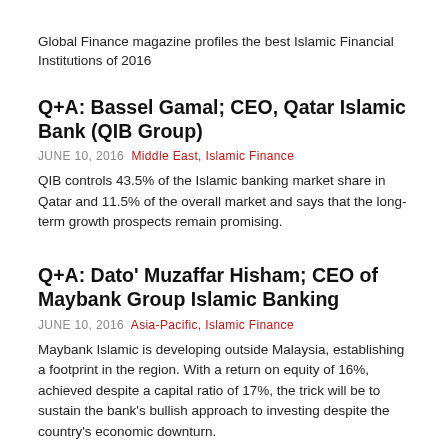Global Finance magazine profiles the best Islamic Financial Institutions of 2016
Q+A: Bassel Gamal; CEO, Qatar Islamic Bank (QIB Group)
JUNE 10, 2016  Middle East, Islamic Finance
QIB controls 43.5% of the Islamic banking market share in Qatar and 11.5% of the overall market and says that the long-term growth prospects remain promising.
Q+A: Dato' Muzaffar Hisham; CEO of Maybank Group Islamic Banking
JUNE 10, 2016  Asia-Pacific, Islamic Finance
Maybank Islamic is developing outside Malaysia, establishing a footprint in the region. With a return on equity of 16%, achieved despite a capital ratio of 17%, the trick will be to sustain the bank's bullish approach to investing despite the country's economic downturn.